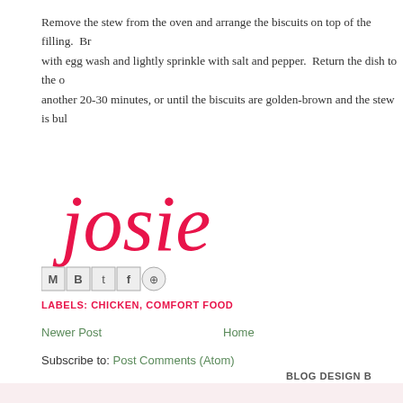Remove the stew from the oven and arrange the biscuits on top of the filling.  Brush with egg wash and lightly sprinkle with salt and pepper.  Return the dish to the oven for another 20-30 minutes, or until the biscuits are golden-brown and the stew is bub...
[Figure (illustration): Handwritten cursive signature reading 'josie' in pink/magenta color]
[Figure (other): Social sharing icons: Email (M), Blogger (B), Twitter (t), Facebook (f), Pinterest (circle with P)]
LABELS: CHICKEN, COMFORT FOOD
Newer Post
Home
Subscribe to: Post Comments (Atom)
BLOG DESIGN B